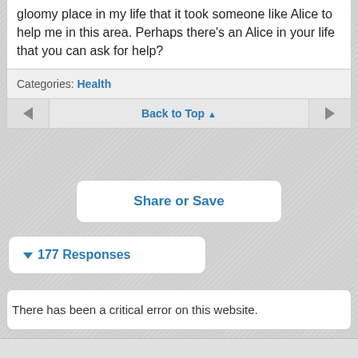gloomy place in my life that it took someone like Alice to help me in this area. Perhaps there's an Alice in your life that you can ask for help?
Categories: Health
Back to Top ▲
Share or Save
▼ 177 Responses
There has been a critical error on this website.